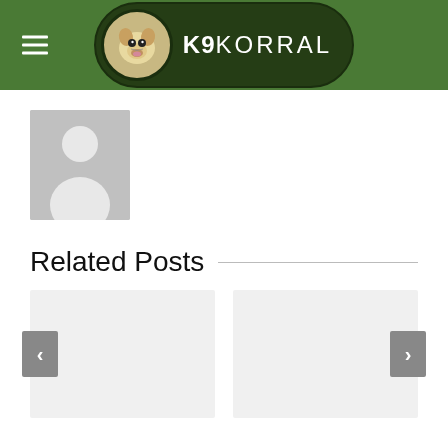K9 KORRAL
[Figure (photo): Default user avatar placeholder — grey silhouette of a person on grey background]
Related Posts
[Figure (photo): Left related post card placeholder (light grey rectangle)]
[Figure (photo): Right related post card placeholder (light grey rectangle)]